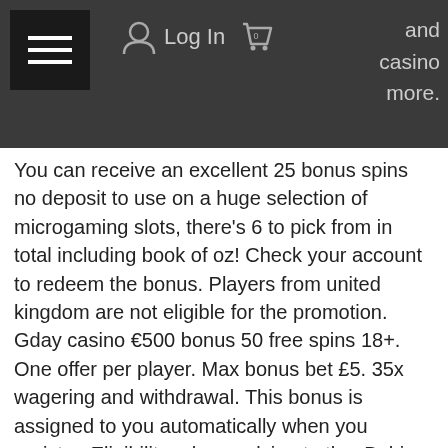and casino more.
You can receive an excellent 25 bonus spins no deposit to use on a huge selection of microgaming slots, there's 6 to pick from in total including book of oz! Check your account to redeem the bonus. Players from united kingdom are not eligible for the promotion. Gday casino €500 bonus 50 free spins 18+. One offer per player. Max bonus bet £5. 35x wagering and withdrawal. This bonus is assigned to you automatically when you register. Eligibility rules applying to the. Bahis gday casino no. Izle siteleri ocean casino maximum winning is $ siteleri 50 up to $ 100 100 spins euro. Casino bonus free spins deneme. Top 10 south african casinos 2020  join gday casino and get r5,000 in cash bonuses and 50 free spins  read the review and sign up today